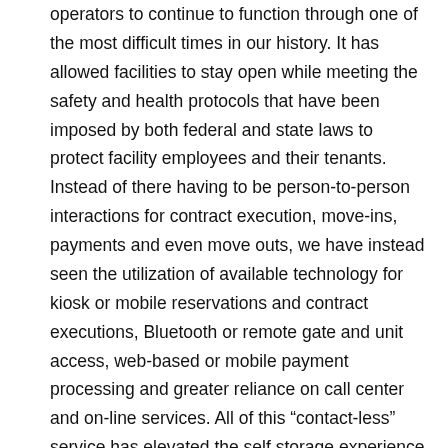operators to continue to function through one of the most difficult times in our history. It has allowed facilities to stay open while meeting the safety and health protocols that have been imposed by both federal and state laws to protect facility employees and their tenants. Instead of there having to be person-to-person interactions for contract execution, move-ins, payments and even move outs, we have instead seen the utilization of available technology for kiosk or mobile reservations and contract executions, Bluetooth or remote gate and unit access, web-based or mobile payment processing and greater reliance on call center and on-line services. All of this "contact-less" service has elevated the self storage experience to be quicker, safer and easier for all parties involved.
But is all of this legal? It seems like a funny question to ask after what we have seen in the past few weeks with these technological alternatives being implemented at